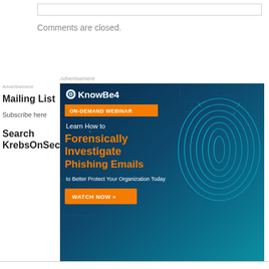Comments are closed.
Advertisement
Advertisement
Mailing List
Subscribe here
Search KrebsOnSecurity
[Figure (illustration): KnowBe4 ON-DEMAND WEBINAR advertisement banner: Learn How to Forensically Investigate Phishing Emails to Better Protect Your Organization Today. WATCH NOW button. Dark blue background with circuit board design and fingerprint graphic.]